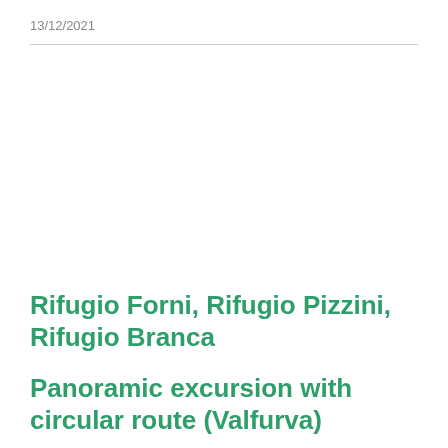13/12/2021
Rifugio Forni, Rifugio Pizzini, Rifugio Branca
Panoramic excursion with circular route (Valfurva)